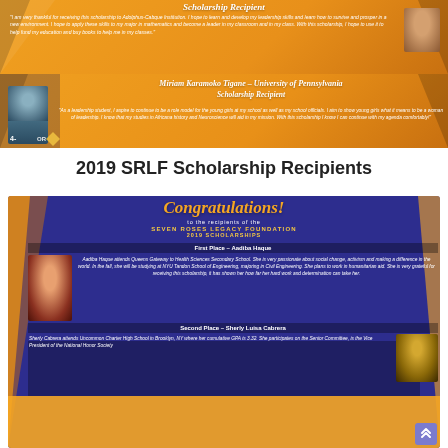[Figure (photo): Orange scholarship recipient banner with quote text and a photo of a woman on the right side]
[Figure (photo): Miriam Karamoko Tigane - University of Pennsylvania Scholarship Recipient banner with her photo on the left and a quote]
2019 SRLF Scholarship Recipients
[Figure (infographic): Congratulations banner for Seven Roses Legacy Foundation 2019 Scholarships with portraits and bios of First Place Aadiba Haque and Second Place Sherly Luisa Cabrera]
First Place – Aadiba Haque
Aadiba Haque attends Queens Gateway to Health Sciences Secondary School. She is very passionate about social change, activism and making a difference in the world. In the fall, she will be studying at NYU Tandon School of Engineering, majoring in Civil Engineering. She plans to work in humanitarian aid. She is very grateful for receiving this scholarship, it has shown her how far her hard work and determination can take her.
Second Place – Sherly Luisa Cabrera
Sherly Cabrera attends Uncommon Charter High School in Brooklyn, NY where her cumulative GPA is 3.32. She participates on the Senior Committee, is the Vice President of the National Honor Society